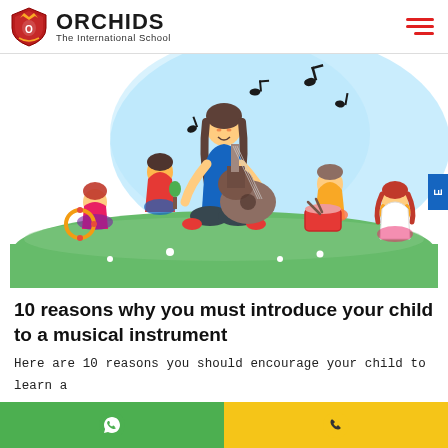ORCHIDS The International School
[Figure (illustration): Cartoon illustration of a teacher playing guitar while seated cross-legged on grass, surrounded by four children playing various instruments (maracas, drum, tambourine). Musical notes float in the air. Light blue blob background shape.]
10 reasons why you must introduce your child to a musical instrument
Here are 10 reasons you should encourage your child to learn a
WhatsApp | Call